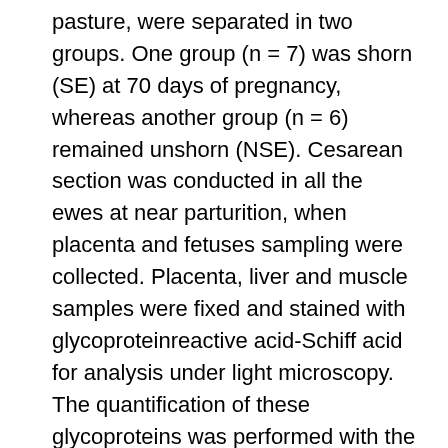pasture, were separated in two groups. One group (n = 7) was shorn (SE) at 70 days of pregnancy, whereas another group (n = 6) remained unshorn (NSE). Cesarean section was conducted in all the ewes at near parturition, when placenta and fetuses sampling were collected. Placenta, liver and muscle samples were fixed and stained with glycoproteinreactive acid-Schiff acid for analysis under light microscopy. The quantification of these glycoproteins was performed with the support of a program that analyzes the measurement of the intensity of staining by field. Five random fields from each sample were used, where statistical analyzes was used as normal test T. Among the analyzed regions, the deposition of glycoprotein between SE and NSE groups was statistically different in the hepatic portal vein (54,499.23 μm2 in SE and 34,830.73 μm2 in NSE) and in the total muscle area of the sample fragment (41,128, 7